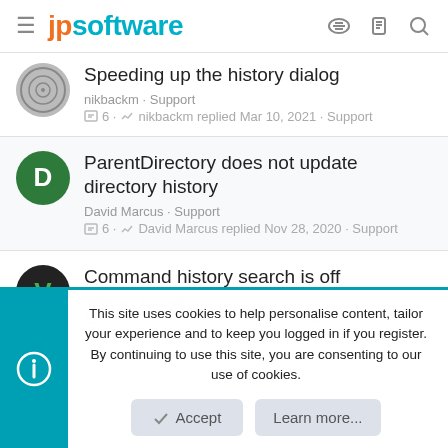jpsoftware
Speeding up the history dialog — nikbackm · Support — 6 · nikbackm replied Mar 10, 2021 · Support
ParentDirectory does not update directory history — David Marcus · Support — 6 · David Marcus replied Nov 28, 2020 · Support
Command history search is off — vefatica · Support — 7 · rconn replied Nov 17, 2020 · Support
This site uses cookies to help personalise content, tailor your experience and to keep you logged in if you register. By continuing to use this site, you are consenting to our use of cookies.
Accept
Learn more...